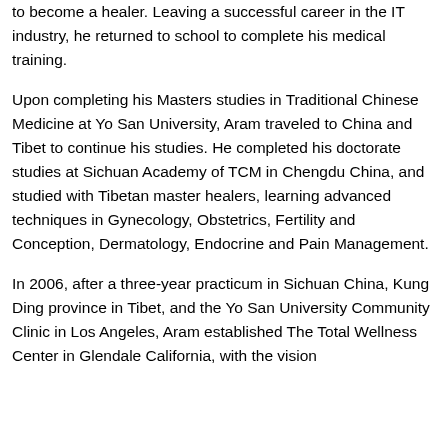to become a healer. Leaving a successful career in the IT industry, he returned to school to complete his medical training.
Upon completing his Masters studies in Traditional Chinese Medicine at Yo San University, Aram traveled to China and Tibet to continue his studies. He completed his doctorate studies at Sichuan Academy of TCM in Chengdu China, and studied with Tibetan master healers, learning advanced techniques in Gynecology, Obstetrics, Fertility and Conception, Dermatology, Endocrine and Pain Management.
In 2006, after a three-year practicum in Sichuan China, Kung Ding province in Tibet, and the Yo San University Community Clinic in Los Angeles, Aram established The Total Wellness Center in Glendale California, with the vision